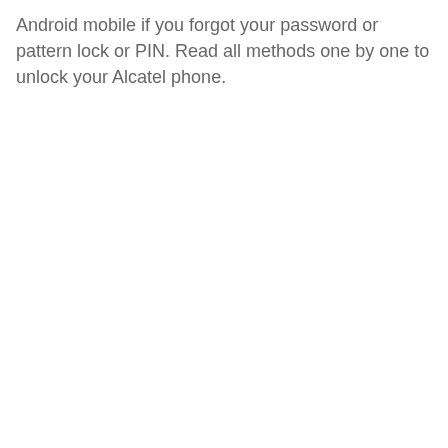Android mobile if you forgot your password or pattern lock or PIN. Read all methods one by one to unlock your Alcatel phone.